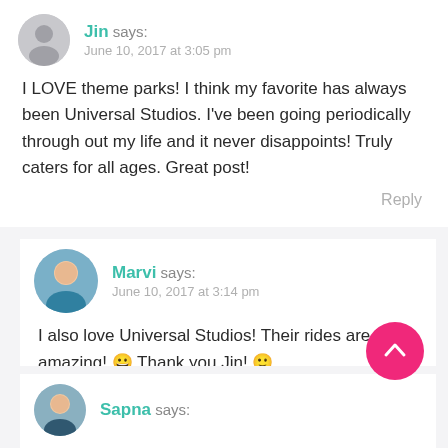Jin says: June 10, 2017 at 3:05 pm
I LOVE theme parks! I think my favorite has always been Universal Studios. I've been going periodically through out my life and it never disappoints! Truly caters for all ages. Great post!
Reply
Marvi says: June 10, 2017 at 3:14 pm
I also love Universal Studios! Their rides are just amazing! 😀 Thank you Jin! 🙂
Sapna says: